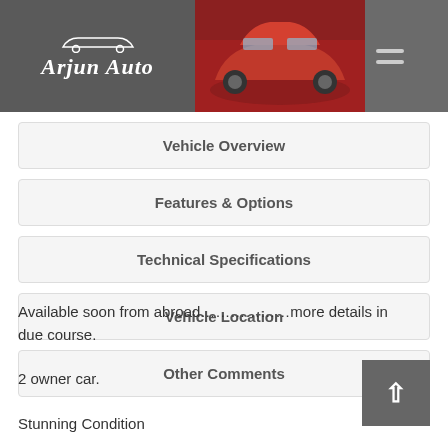[Figure (logo): Arjun Auto dealer logo with stylized car icon on grey background, with red sports car photo beside it and hamburger menu icon]
Vehicle Overview
Features & Options
Technical Specifications
Vehicle Location
Other Comments
Available soon from abroad…………………more details in due course.
2 owner car.
Stunning Condition